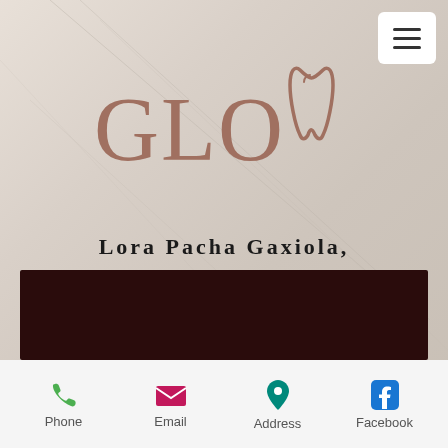[Figure (logo): GLOW dental logo with stylized tooth replacing the W letter, in mauve/rose color on marble-like background]
Lora Pacha Gaxiola, DMD
205-981-2994
Office Hours:
Monday/Wednesday: 8:00-4:30
Tuesday/Thursday: 7:30-4:00
[Figure (other): Dark maroon/brown banner strip]
Phone
Email
Address
Facebook